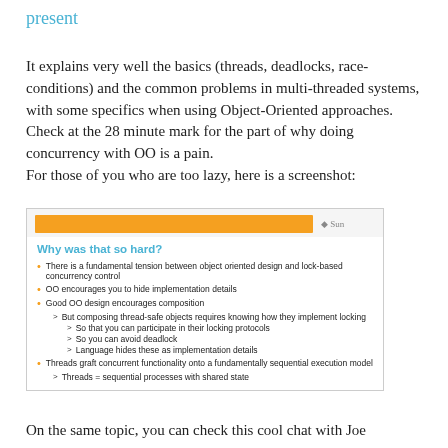present
It explains very well the basics (threads, deadlocks, race-conditions) and the common problems in multi-threaded systems, with some specifics when using Object-Oriented approaches.
Check at the 28 minute mark for the part of why doing concurrency with OO is a pain.
For those of you who are too lazy, here is a screenshot:
[Figure (screenshot): Screenshot of a presentation slide titled 'Why was that so hard?' with bullet points about tension between object-oriented design and lock-based concurrency control, OO encouraging hiding implementation details, good OO design encouraging composition, and threads grafting concurrent functionality onto a sequential execution model.]
On the same topic, you can check this cool chat with Joe